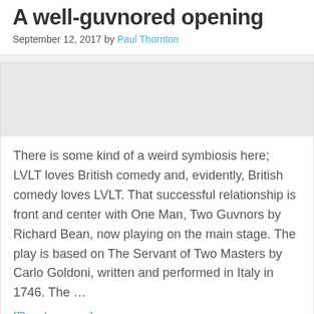A well-guvnored opening
September 12, 2017 by Paul Thornton
There is some kind of a weird symbiosis here; LVLT loves British comedy and, evidently, British comedy loves LVLT. That successful relationship is front and center with One Man, Two Guvnors by Richard Bean, now playing on the main stage. The play is based on The Servant of Two Masters by Carlo Goldoni, written and performed in Italy in 1746. The …
[Read more...]